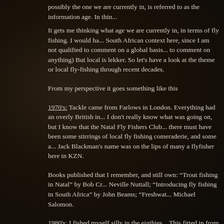possibly the one we are currently in, is referred to as the information age. In thin...
It gets me thinking what age we are currently in, in terms of fly fishing. I would ha... South African context here, since I am not qualified to comment on a global basis... to comment on anything)  But local is lekker. So let's have a look at the theme o... local fly-fishing through recent decades.
From my perspective it goes something like this
1970's:  Tackle came from Farlows in London. Everything had an overly British in... I don't really know what was going on, but I know that the Natal Fly Fishers Club... there must have been some stirrings of local fly fishing comeraderie, and some a... Jack Blackman's name was on the lips of many a flyfisher here in KZN.
Books published that I remember, and still own: "Trout fishing in Natal" by Bob Cr... Neville Nuttall; "Introducing fly fishing in South Africa" by John Beams; "Freshwat... Michael Salomon.
1980's:  I fished myself silly in the eigthies…This fitted in from my high school da... army times.  Fly fishing seemed to be in a big growth phase here in KZN, certain... accessibility. Anton Smith reminded me that a lot of farm dams were built at this t... on the scene.  Roger Baert brought in the first float tube. The fly-Fisherman shop... Africa!) opened in Pietermaritzburg. The American influence really started to com... first book was published (after the newspaper articles that preceded that). The fir... Sutcliffe and others got us all going on upstream dry fly and nymphs. It seemed t... then.